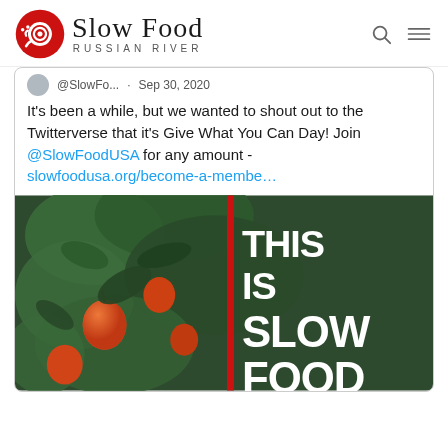Slow Food Russian River
@SlowFo... · Sep 30, 2020

It's been a while, but we wanted to shout out to the Twitterverse that it's Give What You Can Day! Join @SlowFoodUSA for any amount - slowfoodusa.org/become-a-membe…
[Figure (photo): Photo of apples on a tree branch with dark green leaves, overlaid with a red vertical stripe and white bold text reading 'THIS IS SLOW FOOD']